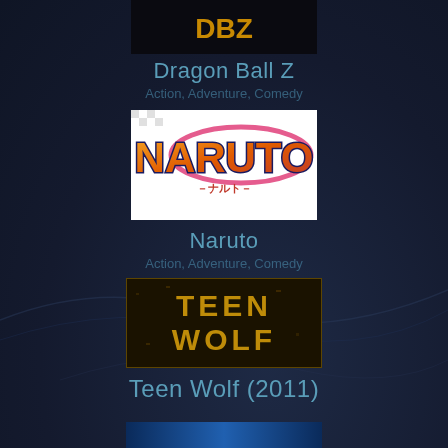[Figure (photo): Top portion of Dragon Ball Z logo image, partially cropped at top]
Dragon Ball Z
[Figure (logo): Naruto anime logo with orange/red gradient lettering and pink swirl, on white/checkered background]
Naruto
[Figure (logo): Teen Wolf (2011) TV show logo with gold distressed text on dark textured background]
Teen Wolf (2011)
[Figure (photo): Bottom partially visible image, appears to be a blue-tinted show or movie logo, cropped at bottom]